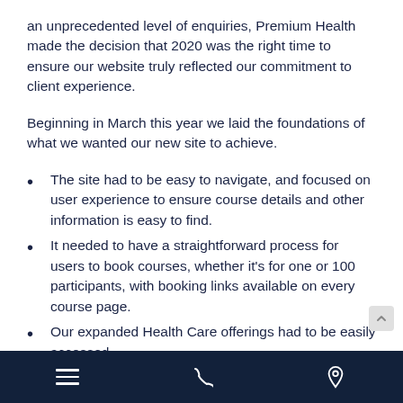an unprecedented level of enquiries, Premium Health made the decision that 2020 was the right time to ensure our website truly reflected our commitment to client experience.
Beginning in March this year we laid the foundations of what we wanted our new site to achieve.
The site had to be easy to navigate, and focused on user experience to ensure course details and other information is easy to find.
It needed to have a straightforward process for users to book courses, whether it's for one or 100 participants, with booking links available on every course page.
Our expanded Health Care offerings had to be easily accessed.
All courses needed to be clearly categorised
Navigation bar with hamburger menu, phone, and location icons